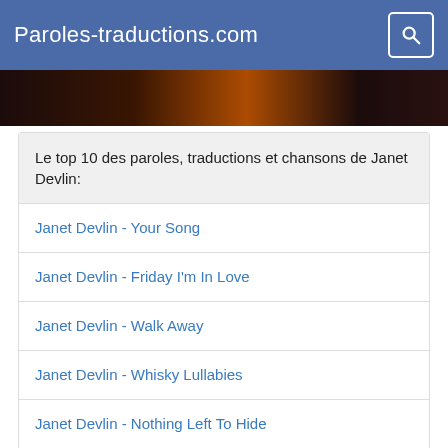Paroles-traductions.com
[Figure (photo): Dark concert/stage photo strip with warm orange tones]
Le top 10 des paroles, traductions et chansons de Janet Devlin:
Janet Devlin - Your Song
Janet Devlin - Friday I'm In Love
Janet Devlin - Walk Away
Janet Devlin - Whisky Lullabies
Janet Devlin - Nothing Left To Hide
Janet Devlin - When You Were Mine
Janet Devlin - When We Were Young